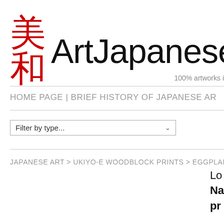[Figure (logo): ArtJapanese website logo with red kanji characters 美和 and black sans-serif text 'ArtJapanese']
100% artworks i
HOME PAGE | BRIEF HISTORY OF JAPANESE AR
[Figure (other): Filter by type... dropdown select element]
JAPANESE ART > UKIYO-E WOODBLOCK PRINTS > EGGPLAN
Lo
Na
pr